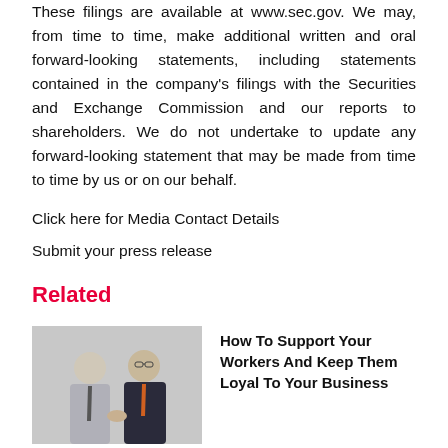These filings are available at www.sec.gov. We may, from time to time, make additional written and oral forward-looking statements, including statements contained in the company's filings with the Securities and Exchange Commission and our reports to shareholders. We do not undertake to update any forward-looking statement that may be made from time to time by us or on our behalf.
Click here for Media Contact Details
Submit your press release
Related
[Figure (photo): Two businessmen shaking hands or in conversation, one in a grey suit and one in a dark suit with orange tie]
How To Support Your Workers And Keep Them Loyal To Your Business